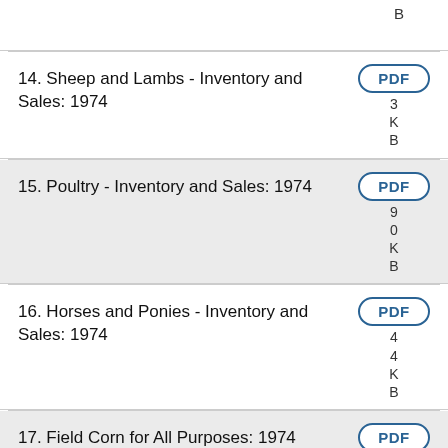B
14. Sheep and Lambs - Inventory and Sales: 1974
15. Poultry - Inventory and Sales: 1974
16. Horses and Ponies - Inventory and Sales: 1974
17. Field Corn for All Purposes: 1974